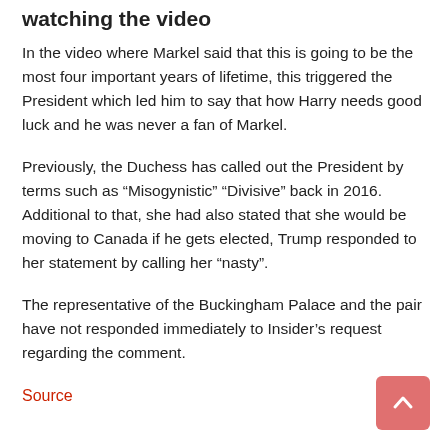watching the video
In the video where Markel said that this is going to be the most four important years of lifetime, this triggered the President which led him to say that how Harry needs good luck and he was never a fan of Markel.
Previously, the Duchess has called out the President by terms such as “Misogynistic” “Divisive” back in 2016. Additional to that, she had also stated that she would be moving to Canada if he gets elected, Trump responded to her statement by calling her “nasty”.
The representative of the Buckingham Palace and the pair have not responded immediately to Insider’s request regarding the comment.
Source